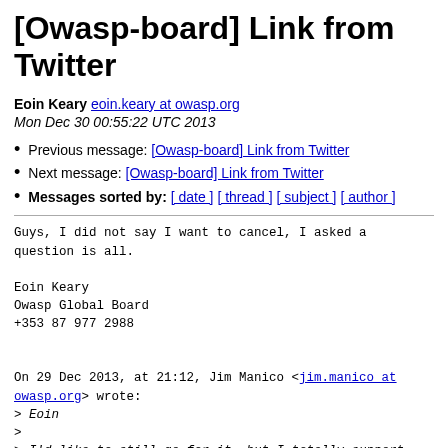[Owasp-board] Link from Twitter
Eoin Keary eoin.keary at owasp.org
Mon Dec 30 00:55:22 UTC 2013
Previous message: [Owasp-board] Link from Twitter
Next message: [Owasp-board] Link from Twitter
Messages sorted by: [ date ] [ thread ] [ subject ] [ author ]
Guys, I did not say I want to cancel, I asked a
question is all.

Eoin Keary
Owasp Global Board
+353 87 977 2988


On 29 Dec 2013, at 21:12, Jim Manico <jim.manico at owasp.org> wrote:

> Eoin
>
> I'd like to still go for it, but I totally support